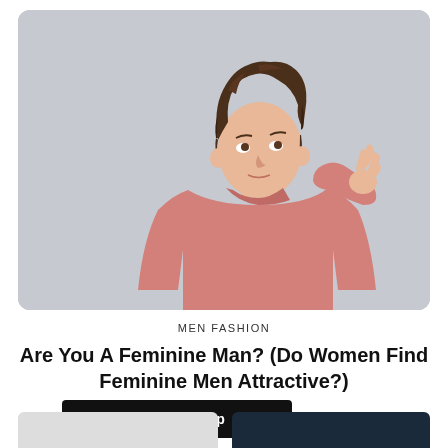[Figure (photo): Young man with curly brown hair wearing a pink oversized sweatshirt, raising one hand with fingers spread, looking upward, photographed against a light gray background]
MEN FASHION
Are You A Feminine Man? (Do Women Find Feminine Men Attractive?)